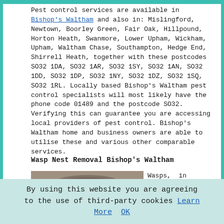Pest control services are available in Bishop's Waltham and also in: Mislingford, Newtown, Boorley Green, Fair Oak, Hillpound, Horton Heath, Swanmore, Lower Upham, Wickham, Upham, Waltham Chase, Southampton, Hedge End, Shirrell Heath, together with these postcodes SO32 1DA, SO32 1AR, SO32 1SY, SO32 1AN, SO32 1DD, SO32 1DP, SO32 1NY, SO32 1DZ, SO32 1SQ, SO32 1RL. Locally based Bishop's Waltham pest control specialists will most likely have the phone code 01489 and the postcode SO32. Verifying this can guarantee you are accessing local providers of pest control. Bishop's Waltham home and business owners are able to utilise these and various other comparable services.
Wasp Nest Removal Bishop's Waltham
[Figure (photo): Close-up photograph of a wasp nest with wasps visible on its surface]
Wasps, in contrast to the amenable honey bee, are sometimes
By using this website you are agreeing to the use of third-party cookies Learn More OK